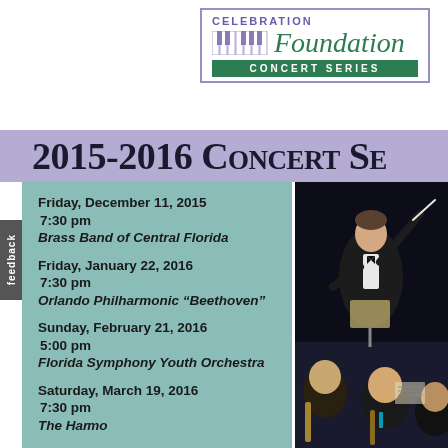[Figure (logo): Celebration Foundation Concert Series logo with piano keys and green script text]
2015-2016 Concert Series
Friday, December 11, 2015
7:30 pm
Brass Band of Central Florida
Friday, January 22, 2016
7:30 pm
Orlando Philharmonic "Beethoven"
Sunday, February 21, 2016
5:00 pm
Florida Symphony Youth Orchestra
Saturday, March 19, 2016
7:30 pm
The Harmony...
[Figure (photo): Orchestra conductor in tuxedo conducting with baton raised, musicians in foreground]